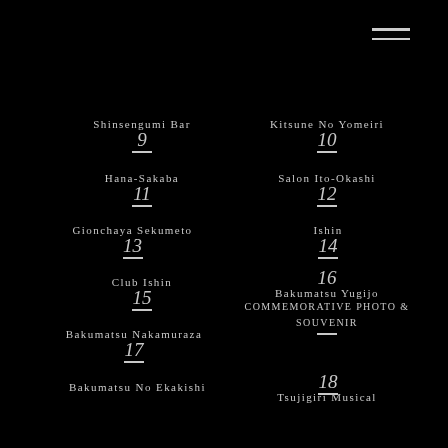[Figure (other): Hamburger menu icon (two horizontal white lines) in top-right corner]
9 Shinsengumi Bar
10 Kitsune No Yomeiri
11 Hana-Sakaba
12 Salon Ito-Okashi
13 Gionchaya Sekumeto
14 Ishin
15 Club Ishin
16 Bakumatsu Yugijo
COMMEMORATIVE PHOTO & SOUVENIR
17 Bakumatsu Nakamuraza
18 (associated with Bakumatsu Nakamuraza)
19 Bakumatsu No Ekakishi
Tsujigiri Musical